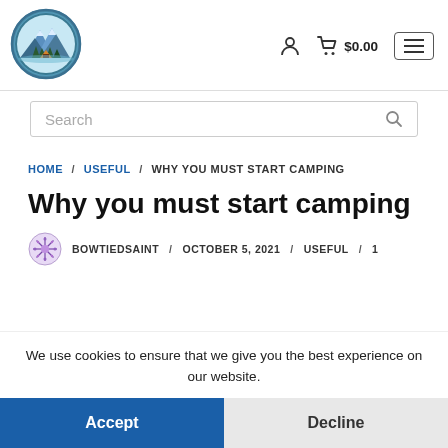[Figure (logo): Outdoor/camping website logo: oval shape with mountains, trees, and a tent, teal/blue color scheme]
$0.00
[Figure (other): Search bar with placeholder text 'Search' and magnifying glass icon]
HOME / USEFUL / WHY YOU MUST START CAMPING
Why you must start camping
BOWTIEDSAINT / OCTOBER 5, 2021 / USEFUL / 1
We use cookies to ensure that we give you the best experience on our website.
Accept
Decline